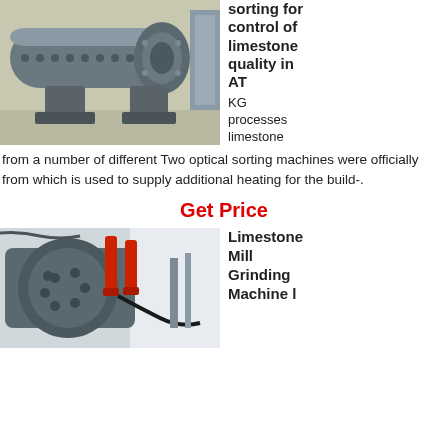[Figure (photo): Industrial ball mill machine, large gray cylindrical grinding equipment on factory floor]
sorting for control of limestone quality in AT
KG processes limestone from a number of different Two optical sorting machines were officially from which is used to supply additional heating for the build-.
Get Price
[Figure (photo): Limestone mill grinding machine close-up view with red hydraulic pistons]
Limestone Mill Grinding Machine l